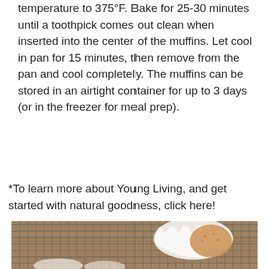temperature to 375°F. Bake for 25-30 minutes until a toothpick comes out clean when inserted into the center of the muffins. Let cool in pan for 15 minutes, then remove from the pan and cool completely. The muffins can be stored in an airtight container for up to 3 days (or in the freezer for meal prep).
*To learn more about Young Living, and get started with natural goodness, click here!
[Figure (photo): Photo of muffins on a wire cooling rack placed on a wooden surface. A white paper muffin liner is visible with a baked muffin beside it.]